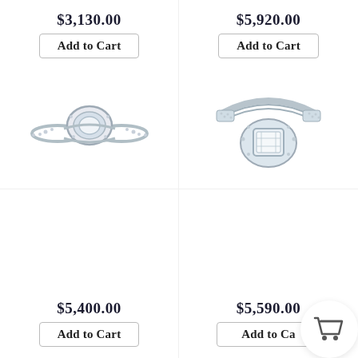$3,130.00
Add to Cart
[Figure (photo): Diamond engagement ring with round center stone and split shank with pave diamonds, white gold]
$5,920.00
Add to Cart
[Figure (photo): Diamond engagement ring with large emerald-cut center stone, halo setting, and triple pave band in white gold]
$5,400.00
Add to Cart
$5,590.00
Add to Cart
[Figure (illustration): Shopping cart icon overlay in bottom right corner]